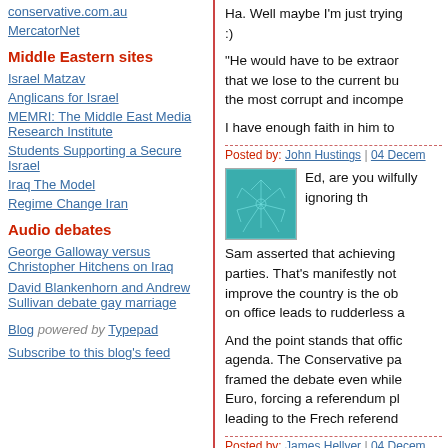conservative.com.au
MercatorNet
Middle Eastern sites
Israel Matzav
Anglicans for Israel
MEMRI: The Middle East Media Research Institute
Students Supporting a Secure Israel
Iraq The Model
Regime Change Iran
Audio debates
George Galloway versus Christopher Hitchens on Iraq
David Blankenhorn and Andrew Sullivan debate gay marriage
Blog powered by Typepad
Subscribe to this blog's feed
Ha. Well maybe I'm just trying :)
"He would have to be extraor... that we lose to the current bu... the most corrupt and incompe...
I have enough faith in him to...
Posted by: John Hustings | 04 Decem...
[Figure (illustration): Small square avatar image with teal/green abstract leaf or neural pattern on dark teal background]
Ed, are you wilfully ignoring th...
Sam asserted that achieving ... parties. That's manifestly not... improve the country is the ob... on office leads to rudderless ...
And the point stands that offic... agenda. The Conservative pa... framed the debate even while... Euro, forcing a referendum pl... leading to the Frech referend...
Posted by: James Hellyer | 04 Decem...